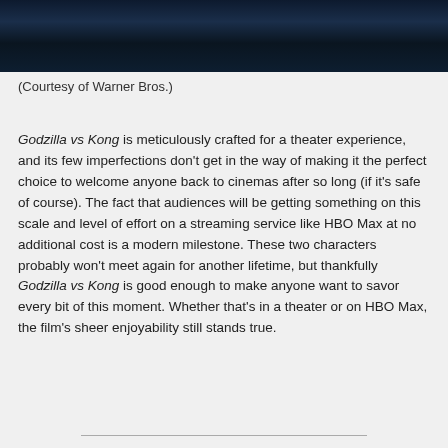[Figure (photo): Dark cinematic still from Godzilla vs Kong, showing a dark blue-toned action scene]
(Courtesy of Warner Bros.)
Godzilla vs Kong is meticulously crafted for a theater experience, and its few imperfections don't get in the way of making it the perfect choice to welcome anyone back to cinemas after so long (if it's safe of course). The fact that audiences will be getting something on this scale and level of effort on a streaming service like HBO Max at no additional cost is a modern milestone. These two characters probably won't meet again for another lifetime, but thankfully Godzilla vs Kong is good enough to make anyone want to savor every bit of this moment. Whether that's in a theater or on HBO Max, the film's sheer enjoyability still stands true.